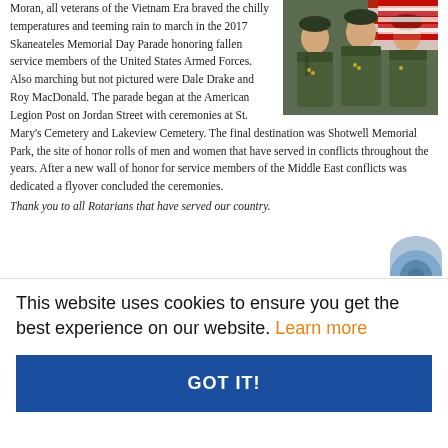[Figure (photo): Three men in military dress uniforms standing together in front of an American flag.]
Moran, all veterans of the Vietnam Era braved the chilly temperatures and teeming rain to march in the 2017 Skaneateles Memorial Day Parade honoring fallen service members of the United States Armed Forces.  Also marching but not pictured were Dale Drake and Roy MacDonald. The parade began at the American Legion Post on Jordan Street with ceremonies at St. Mary's Cemetery and Lakeview Cemetery.  The final destination was Shotwell Memorial Park, the site of  honor rolls of men and women that have served in conflicts throughout the years. After a new wall of honor for service members of the Middle East conflicts was dedicated a flyover concluded the ceremonies.
Thank you to all Rotarians that have served our country.
This website uses cookies to ensure you get the best experience on our website. Learn more
GOT IT!